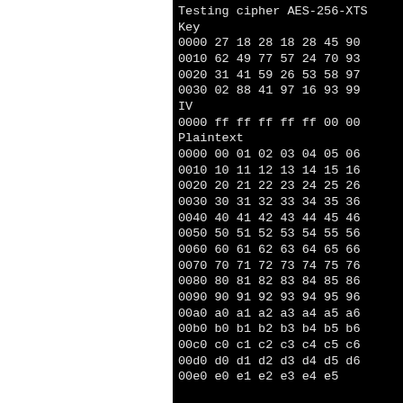Testing cipher AES-256-XTS
Key
0000 27 18 28 18 28 45 90
0010 62 49 77 57 24 70 93
0020 31 41 59 26 53 58 97
0030 02 88 41 97 16 93 99
IV
0000 ff ff ff ff ff 00 00
Plaintext
0000 00 01 02 03 04 05 06
0010 10 11 12 13 14 15 16
0020 20 21 22 23 24 25 26
0030 30 31 32 33 34 35 36
0040 40 41 42 43 44 45 46
0050 50 51 52 53 54 55 56
0060 60 61 62 63 64 65 66
0070 70 71 72 73 74 75 76
0080 80 81 82 83 84 85 86
0090 90 91 92 93 94 95 96
00a0 a0 a1 a2 a3 a4 a5 a6
00b0 b0 b1 b2 b3 b4 b5 b6
00c0 c0 c1 c2 c3 c4 c5 c6
00d0 d0 d1 d2 d3 d4 d5 d6
00e0 e0 e1 e2 e3 e4 e5...